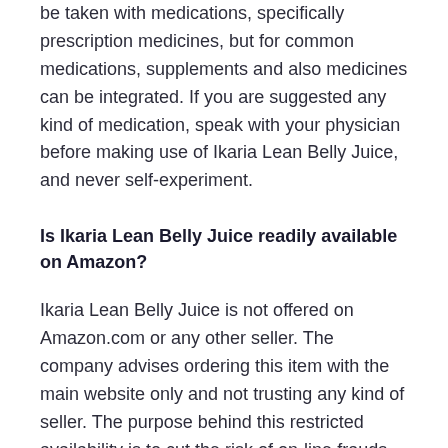be taken with medications, specifically prescription medicines, but for common medications, supplements and also medicines can be integrated. If you are suggested any kind of medication, speak with your physician before making use of Ikaria Lean Belly Juice, and never self-experiment.
Is Ikaria Lean Belly Juice readily available on Amazon?
Ikaria Lean Belly Juice is not offered on Amazon.com or any other seller. The company advises ordering this item with the main website only and not trusting any kind of seller. The purpose behind this restricted availability is to cut the risk of on-line frauds as well as scams, which